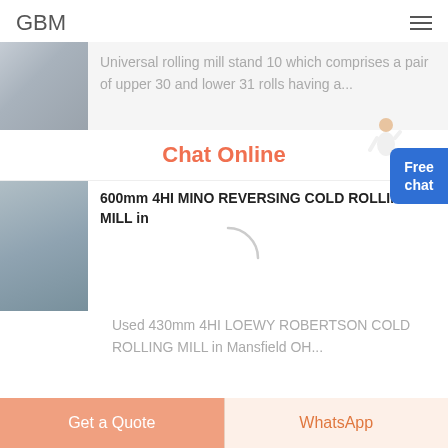GBM
Universal rolling mill stand 10 which comprises a pair of upper 30 and lower 31 rolls having a...
Chat Online
600mm 4HI MINO REVERSING COLD ROLLING MILL in
Used 430mm 4HI LOEWY ROBERTSON COLD ROLLING MILL in Mansfield OH...
Get a Quote
WhatsApp